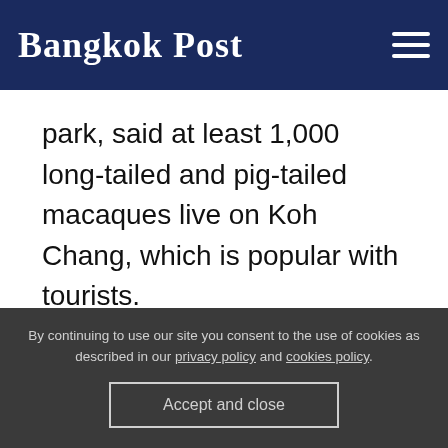Bangkok Post
park, said at least 1,000 long-tailed and pig-tailed macaques live on Koh Chang, which is popular with tourists.
By continuing to use our site you consent to the use of cookies as described in our privacy policy and cookies policy. Accept and close